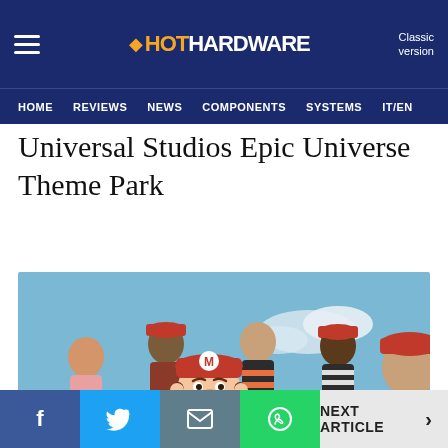HotHardware — Classic version | HOME | REVIEWS | NEWS | COMPONENTS | SYSTEMS | IT/EN
Universal Studios Epic Universe Theme Park
[Figure (photo): Photo of Super Mario character mascot in red cap with 'M' logo surrounded by joyful people wearing red caps, outdoors on green grass with blue sky background.]
Facebook share | Twitter share | Email share | WhatsApp share | NEXT ARTICLE >